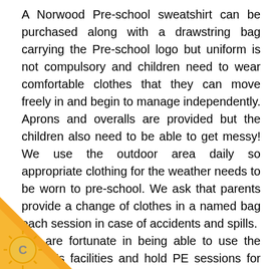A Norwood Pre-school sweatshirt can be purchased along with a drawstring bag carrying the Pre-school logo but uniform is not compulsory and children need to wear comfortable clothes that they can move freely in and begin to manage independently. Aprons and overalls are provided but the children also need to be able to get messy! We use the outdoor area daily so appropriate clothing for the weather needs to be worn to pre-school. We ask that parents provide a change of clothes in a named bag each session in case of accidents and spills. We are fortunate in being able to use the school's facilities and hold PE sessions for the children in the Nutbeem Hall. The children love to change into their PE kit and this supports their independence and prepares them for YR so we ask parents to provide a pair of shorts and a round-necked T-shirt. Please ensure all clothes are named as es can easily get muddled when little ones are g!
[Figure (illustration): Yellow and orange triangular corner badge in bottom-left corner with a sun/gear icon containing the letter C]